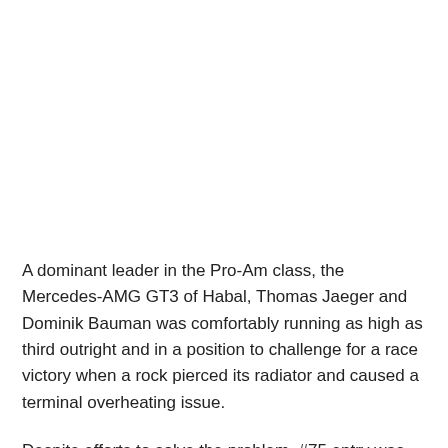A dominant leader in the Pro-Am class, the Mercedes-AMG GT3 of Habal, Thomas Jaeger and Dominik Bauman was comfortably running as high as third outright and in a position to challenge for a race victory when a rock pierced its radiator and caused a terminal overheating issue.
Despite efforts to solve the problem, #75 entry was officially withdrawn after lap 202 with just over four hours remaining in the